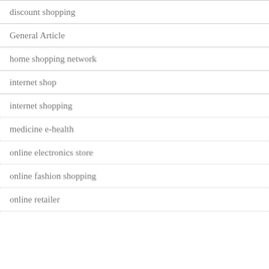discount shopping
General Article
home shopping network
internet shop
internet shopping
medicine e-health
online electronics store
online fashion shopping
online retailer